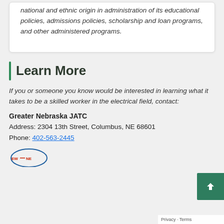national and ethnic origin in administration of its educational policies, admissions policies, scholarship and loan programs, and other administered programs.
Learn More
If you or someone you know would be interested in learning what it takes to be a skilled worker in the electrical field, contact:
Greater Nebraska JATC
Address: 2304 13th Street, Columbus, NE 68601
Phone: 402-563-2445